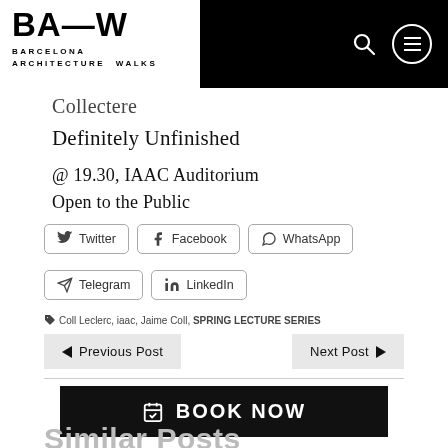BA—W Barcelona Architecture Walks
Collectere
Definitely Unfinished
@ 19.30, IAAC Auditorium
Open to the Public
Twitter  Facebook  WhatsApp  Telegram  LinkedIn
Coll Leclerc, iaac, Jaime Coll, SPRING LECTURE SERIES
Previous Post  Next Post
BOOK NOW
Similar Posts